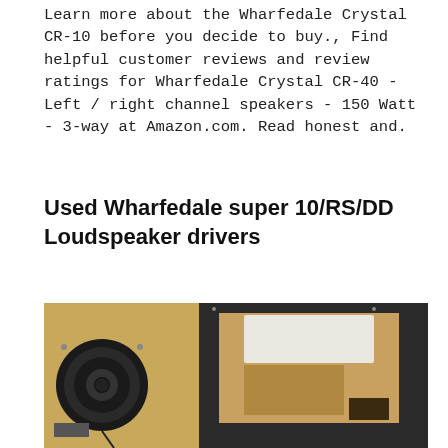Learn more about the Wharfedale Crystal CR-10 before you decide to buy., Find helpful customer reviews and review ratings for Wharfedale Crystal CR-40 - Left / right channel speakers - 150 Watt - 3-way at Amazon.com. Read honest and.
Used Wharfedale super 10/RS/DD Loudspeaker drivers
[Figure (photo): Photo of disassembled Wharfedale loudspeaker drivers showing a black speaker driver on the left and a cardboard/foam-lined speaker cabinet panel on the right, against a grey background.]